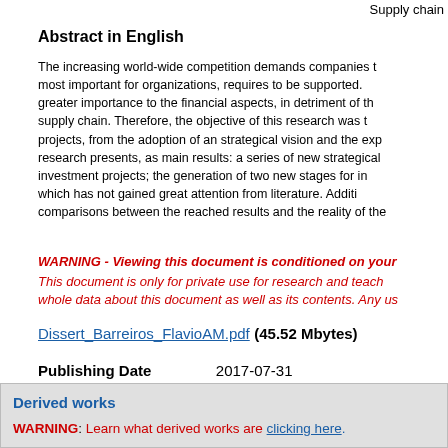Supply chain
Abstract in English
The increasing world-wide competition demands companies to most important for organizations, requires to be supported. greater importance to the financial aspects, in detriment of the supply chain. Therefore, the objective of this research was to projects, from the adoption of an strategical vision and the exp research presents, as main results: a series of new strategical investment projects; the generation of two new stages for in which has not gained great attention from literature. Additi comparisons between the reached results and the reality of the
WARNING - Viewing this document is conditioned on your This document is only for private use for research and teach whole data about this document as well as its contents. Any us
Dissert_Barreiros_FlavioAM.pdf (45.52 Mbytes)
Publishing Date    2017-07-31
Derived works
WARNING: Learn what derived works are clicking here.